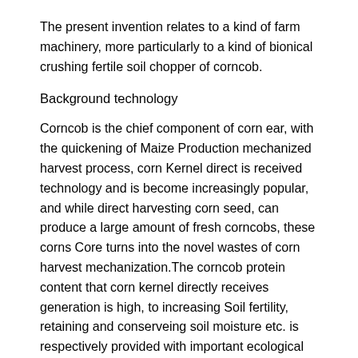The present invention relates to a kind of farm machinery, more particularly to a kind of bionical crushing fertile soil chopper of corncob.
Background technology
Corncob is the chief component of corn ear, with the quickening of Maize Production mechanized harvest process, corn Kernel direct is received technology and is become increasingly popular, and while direct harvesting corn seed, can produce a large amount of fresh corncobs, these corns Core turns into the novel wastes of corn harvest mechanization.The corncob protein content that corn kernel directly receives generation is high, to increasing Soil fertility, retaining and conserveing soil moisture etc. is respectively provided with important ecological significance.Size reduction machinery is broadly divided into pair roller type, dise knife formula, pair roller type powder Broken machine is mainly used in crushing straw class material, and dise knife formula pulverizer is mainly used in grinding particulate material；Pair roller pulverizer Key components and parts include horizontal roller bearing and shoot cutter, and the key components